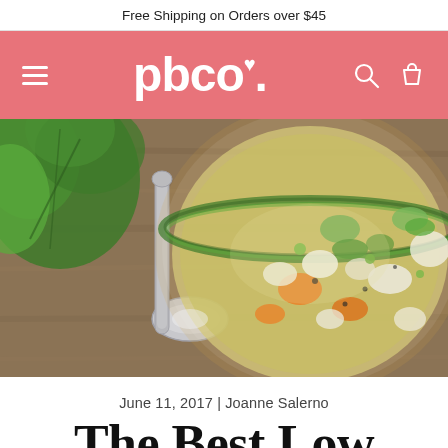Free Shipping on Orders over $45
[Figure (logo): pbco. logo in white on pink/salmon navigation bar with hamburger menu, search icon, and shopping bag icon]
[Figure (photo): Overhead photo of a bowl of vegetable soup with chunks of cauliflower, carrots, zucchini, peas, and herbs in broth, with a silver spoon and fresh parsley on a wooden background]
June 11, 2017 | Joanne Salerno
The Best Low